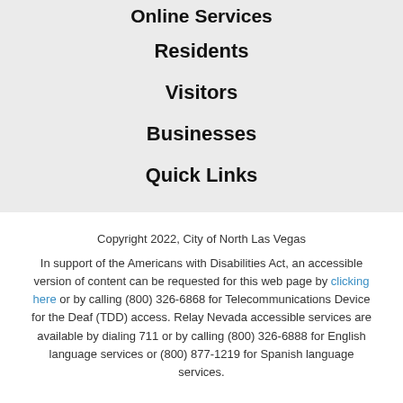Online Services
Residents
Visitors
Businesses
Quick Links
Copyright 2022, City of North Las Vegas
In support of the Americans with Disabilities Act, an accessible version of content can be requested for this web page by clicking here or by calling (800) 326-6868 for Telecommunications Device for the Deaf (TDD) access. Relay Nevada accessible services are available by dialing 711 or by calling (800) 326-6888 for English language services or (800) 877-1219 for Spanish language services.